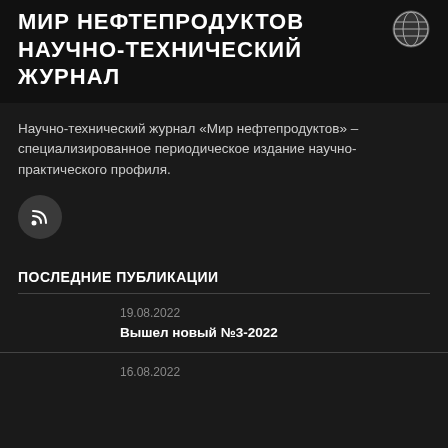МИР НЕФТЕПРОДУКТОВ НАУЧНО-ТЕХНИЧЕСКИЙ ЖУРНАЛ
Научно-технический журнал «Мир нефтепродуктов» – специализированное периодическое издание научно-практического профиля.
[Figure (logo): RSS feed icon button (dark circular background with wifi/RSS symbol)]
ПОСЛЕДНИЕ ПУБЛИКАЦИИ
19.08.2022
Вышел новый №3-2022
16.08.2022